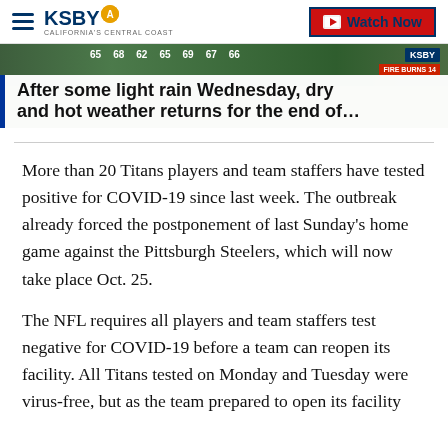KSBY — California's Central Coast | Watch Now
[Figure (screenshot): Weather banner showing temperatures 65, 68, 62, 65, 69, 67, 66 with KSBY logo and FIRE BURNS 14 badge]
After some light rain Wednesday, dry and hot weather returns for the end of…
More than 20 Titans players and team staffers have tested positive for COVID-19 since last week. The outbreak already forced the postponement of last Sunday's home game against the Pittsburgh Steelers, which will now take place Oct. 25.
The NFL requires all players and team staffers test negative for COVID-19 before a team can reopen its facility. All Titans tested on Monday and Tuesday were virus-free, but as the team prepared to open its facility